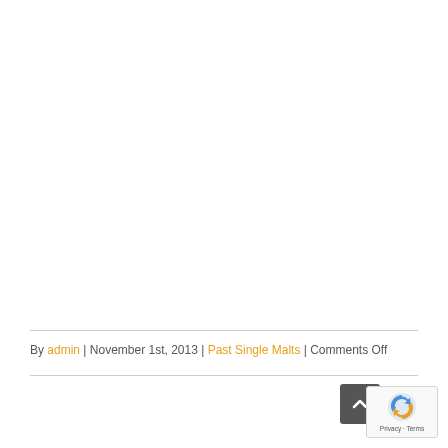By admin | November 1st, 2013 | Past Single Malts | Comments Off